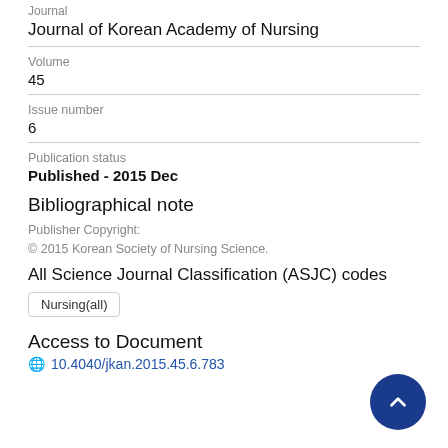Journal
Journal of Korean Academy of Nursing
Volume
45
Issue number
6
Publication status
Published - 2015 Dec
Bibliographical note
Publisher Copyright:
© 2015 Korean Society of Nursing Science.
All Science Journal Classification (ASJC) codes
Nursing(all)
Access to Document
10.4040/jkan.2015.45.6.783